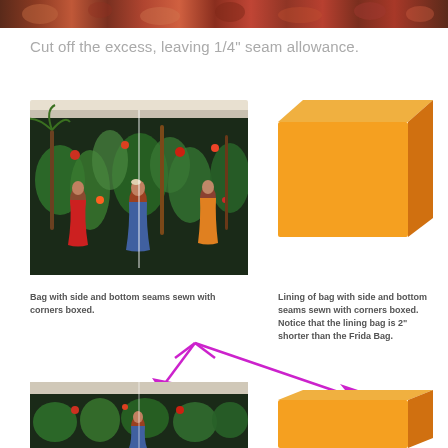[Figure (photo): Top decorative strip showing colorful fabric with figures and floral patterns]
Cut off the excess, leaving 1/4" seam allowance.
[Figure (photo): Fabric bag with colorful Frida Kahlo themed print, showing side and bottom seams sewn with corners boxed]
[Figure (illustration): Orange 3D box shape representing the lining of bag with side and bottom seams sewn with corners boxed]
Bag with side and bottom seams sewn with corners boxed.
Lining of bag with side and bottom seams sewn with corners boxed. Notice that the lining bag is 2" shorter than the Frida Bag.
[Figure (photo): Bottom section: fabric bag photo with magenta arrows pointing from bag to orange lining box]
[Figure (illustration): Orange 3D box shape at bottom right representing lining bag]